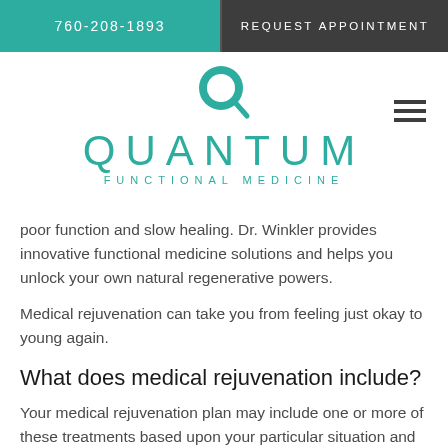760-208-1893   REQUEST APPOINTMENT
[Figure (logo): Quantum Functional Medicine logo with teal Q icon and teal text]
poor function and slow healing. Dr. Winkler provides innovative functional medicine solutions and helps you unlock your own natural regenerative powers.
Medical rejuvenation can take you from feeling just okay to young again.
What does medical rejuvenation include?
Your medical rejuvenation plan may include one or more of these treatments based upon your particular situation and health goals.